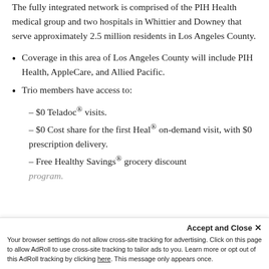The fully integrated network is comprised of the PIH Health medical group and two hospitals in Whittier and Downey that serve approximately 2.5 million residents in Los Angeles County.
Coverage in this area of Los Angeles County will include PIH Health, AppleCare, and Allied Pacific.
Trio members have access to:
– $0 Teladoc® visits.
– $0 Cost share for the first Heal® on-demand visit, with $0 prescription delivery.
– Free Healthy Savings® grocery discount
program.
Accept and Close ✕
Your browser settings do not allow cross-site tracking for advertising. Click on this page to allow AdRoll to use cross-site tracking to tailor ads to you. Learn more or opt out of this AdRoll tracking by clicking here. This message only appears once.